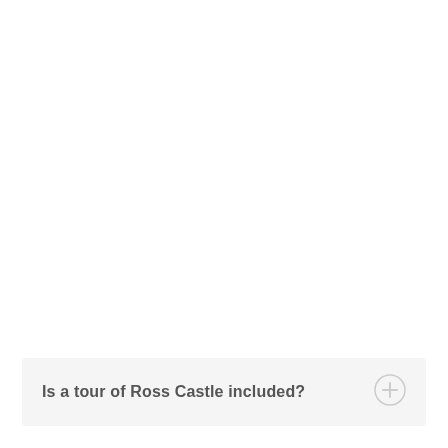Is a tour of Ross Castle included?